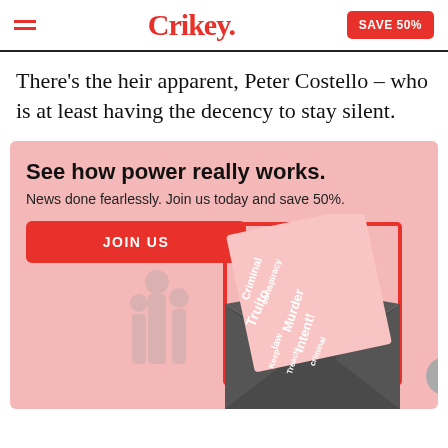Crikey. SAVE 50%
There’s the heir apparent, Peter Costello – who is at least having the decency to stay silent.
[Figure (infographic): Pink promotional banner with headline 'See how power really works.', subtext 'News done fearlessly. Join us today and save 50%.', a red JOIN US button, and an illustration of an envelope with a letter containing words like Criminal, conspiracy, law, Truito, Murder, intent, etc.]